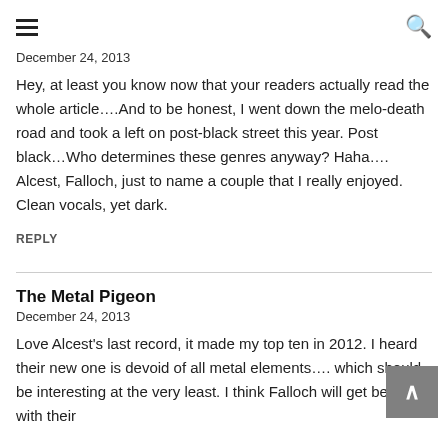☰   🔍
December 24, 2013
Hey, at least you know now that your readers actually read the whole article….And to be honest, I went down the melo-death road and took a left on post-black street this year. Post black…Who determines these genres anyway? Haha…. Alcest, Falloch, just to name a couple that I really enjoyed. Clean vocals, yet dark.
REPLY
The Metal Pigeon
December 24, 2013
Love Alcest's last record, it made my top ten in 2012. I heard their new one is devoid of all metal elements…. which should be interesting at the very least. I think Falloch will get better with their